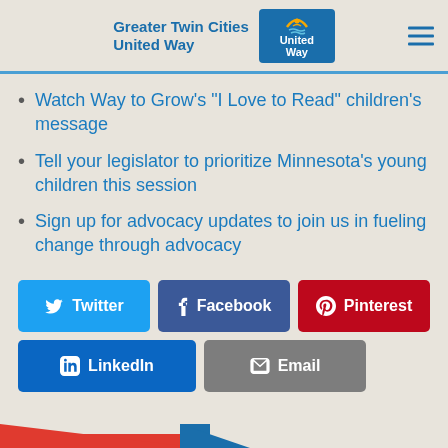Greater Twin Cities United Way
Watch Way to Grow's “I Love to Read” children’s message
Tell your legislator to prioritize Minnesota’s young children this session
Sign up for advocacy updates to join us in fueling change through advocacy
[Figure (other): Social sharing buttons: Twitter, Facebook, Pinterest, LinkedIn, Email]